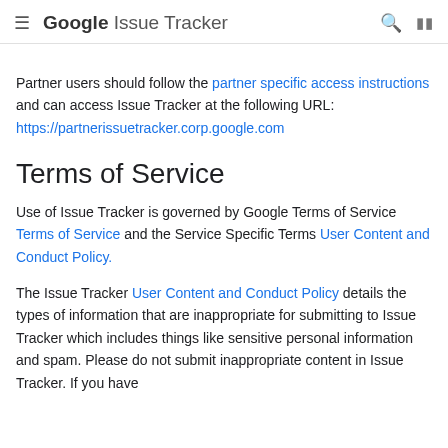≡ Google Issue Tracker 🔍 ⊞
Partner users should follow the partner specific access instructions and can access Issue Tracker at the following URL: https://partnerissuetracker.corp.google.com
Terms of Service
Use of Issue Tracker is governed by Google Terms of Service Terms of Service and the Service Specific Terms User Content and Conduct Policy.
The Issue Tracker User Content and Conduct Policy details the types of information that are inappropriate for submitting to Issue Tracker which includes things like sensitive personal information and spam. Please do not submit inappropriate content in Issue Tracker. If you have